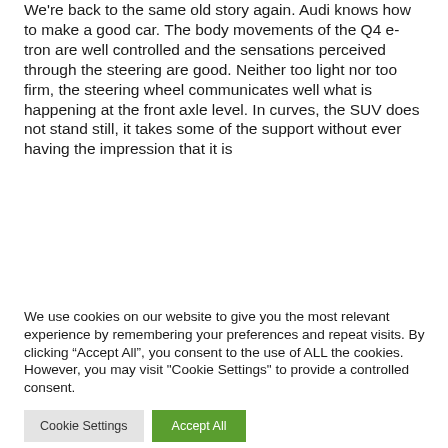We're back to the same old story again. Audi knows how to make a good car. The body movements of the Q4 e-tron are well controlled and the sensations perceived through the steering are good. Neither too light nor too firm, the steering wheel communicates well what is happening at the front axle level. In curves, the SUV does not stand still, it takes some of the support without ever having the impression that it is
We use cookies on our website to give you the most relevant experience by remembering your preferences and repeat visits. By clicking “Accept All”, you consent to the use of ALL the cookies. However, you may visit "Cookie Settings" to provide a controlled consent.
Cookie Settings
Accept All